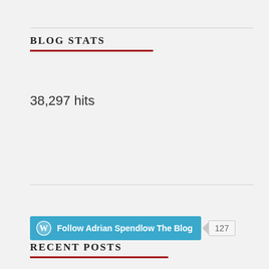BLOG STATS
38,297 hits
[Figure (other): WordPress Follow button: 'Follow Adrian Spendlow The Blog' in blue with WordPress logo icon, and a follower count badge showing 127]
RECENT POSTS